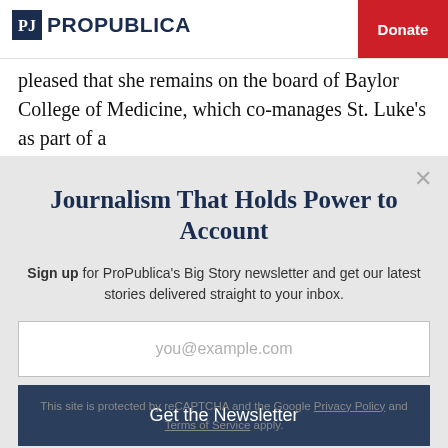ProPublica | Donate
pleased that she remains on the board of Baylor College of Medicine, which co-manages St. Luke's as part of a
Journalism That Holds Power to Account
Sign up for ProPublica's Big Story newsletter and get our latest stories delivered straight to your inbox.
you@example.com
Get the Newsletter
No thanks, I'm all set
This site is protected by reCAPTCHA and the Google Privacy Policy and Terms of Service apply.